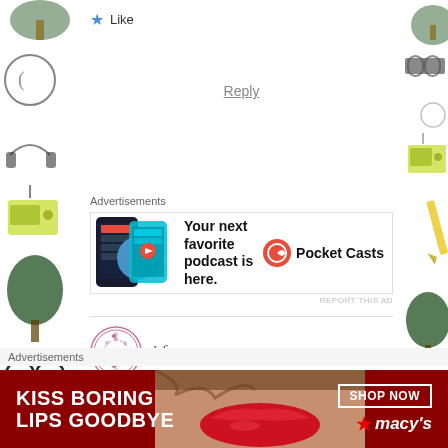★ Like
Reply
Advertisements
[Figure (infographic): Pocket Casts podcast app advertisement showing phone with app interface and text 'Your next favorite podcast is here.' with Pocket Casts brand logo]
REPORT THIS AD
[Figure (illustration): User avatar for commenter i.f. - decorative circular pattern in pink/red]
i.f.  June 26, 2014 at 2:17 pm
This is sad news. I am so sorry. My heart goes out to you and your loved ones. Whenever the final moment is to come – it is always to early for the loving people left behind. But let's hope he is in a better place now and
Advertisements
[Figure (infographic): Macy's advertisement banner with dark red background showing lips photo and text 'KISS BORING LIPS GOODBYE' with SHOP NOW button and Macy's logo]